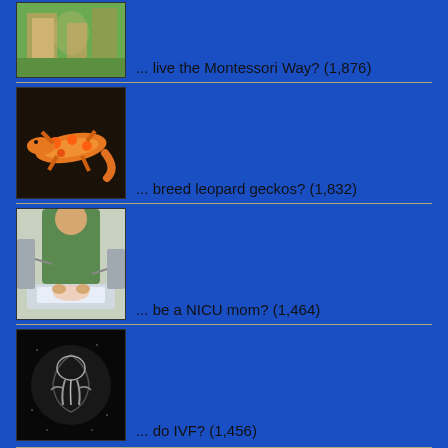... live the Montessori Way? (1,876)
... breed leopard geckos? (1,832)
... be a NICU mom? (1,464)
... do IVF? (1,456)